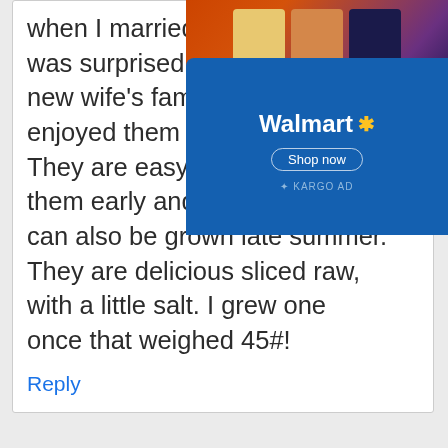when I married 34 years ago was surprised to find that my new wife's family had always enjoyed them as mine did. They are easy to grow, start them early and transplant, they can also be grown late summer. They are delicious sliced raw, with a little salt. I grew one once that weighed 45#!
[Figure (screenshot): Walmart advertisement overlay showing product images and blue Walmart branded banner with 'Shop now' button and '+ KARGO AD' label]
Reply
[Figure (illustration): User avatar icon for April G - cartoon face with angry expression, bluish-grey color, circular avatar]
APRIL G